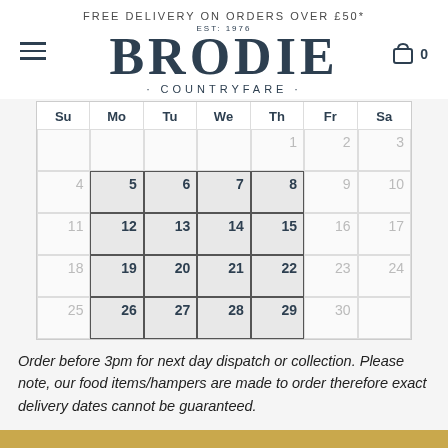FREE DELIVERY ON ORDERS OVER £50*
BRODIE · COUNTRYFARE · EST: 1976
| Su | Mo | Tu | We | Th | Fr | Sa |
| --- | --- | --- | --- | --- | --- | --- |
|  |  |  |  | 1 | 2 | 3 |
| 4 | 5 | 6 | 7 | 8 | 9 | 10 |
| 11 | 12 | 13 | 14 | 15 | 16 | 17 |
| 18 | 19 | 20 | 21 | 22 | 23 | 24 |
| 25 | 26 | 27 | 28 | 29 | 30 |  |
Order before 3pm for next day dispatch or collection. Please note, our food items/hampers are made to order therefore exact delivery dates cannot be guaranteed.